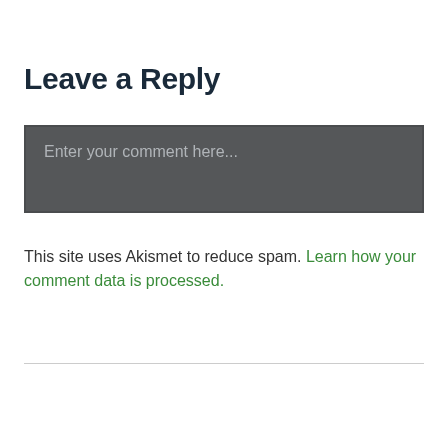Leave a Reply
Enter your comment here...
This site uses Akismet to reduce spam. Learn how your comment data is processed.